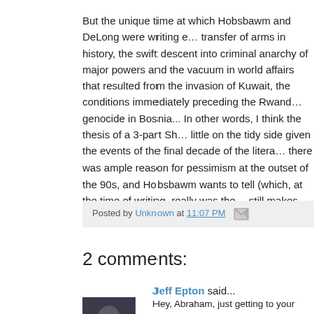But the unique time at which Hobsbawm and DeLong were writing e… transfer of arms in history, the swift descent into criminal anarchy of … major powers and the vacuum in world affairs that resulted from the … invasion of Kuwait, the conditions immediately preceding the Rwand… genocide in Bosnia... In other words, I think the thesis of a 3-part Sh… little on the tidy side given the events of the final decade of the litera… there was ample reason for pessimism at the outset of the 90s, and … Hobsbawm wants to tell (which, at the time of writing, really was the… still makes sense.
Posted by Unknown at 11:07 PM
2 comments:
Jeff Epton said...
Hey, Abraham, just getting to your post about a month after you po… read a few Hobsbawm's--I'm not sure which ones, but I think Eric i… read (and enjoyed). I'm planning a bookstore outing in a couple of … up Age of Extremes. You make a good case for exploring the book…
August 22, 2008 at 12:15 PM